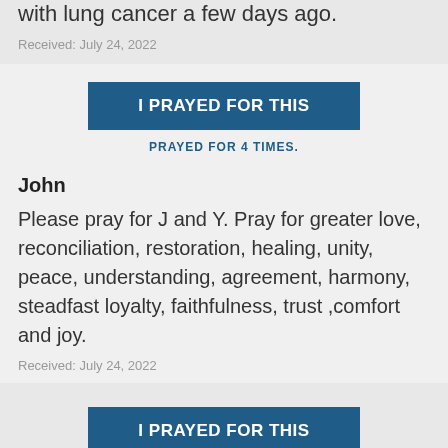Please pray for Angel who was diagnosed with lung cancer a few days ago.
Received: July 24, 2022
I PRAYED FOR THIS
PRAYED FOR 4 TIMES.
John
Please pray for J and Y. Pray for greater love, reconciliation, restoration, healing, unity, peace, understanding, agreement, harmony, steadfast loyalty, faithfulness, trust ,comfort and joy.
Received: July 24, 2022
I PRAYED FOR THIS
PRAYED FOR 6 TIMES.